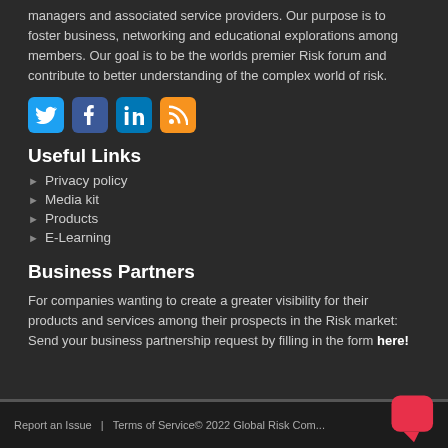managers and associated service providers. Our purpose is to foster business, networking and educational explorations among members. Our goal is to be the worlds premier Risk forum and contribute to better understanding of the complex world of risk.
[Figure (other): Social media icons: Twitter (blue), Facebook (dark blue), LinkedIn (blue), RSS (orange)]
Useful Links
Privacy policy
Media kit
Products
E-Learning
Business Partners
For companies wanting to create a greater visibility for their products and services among their prospects in the Risk market: Send your business partnership request by filling in the form here!
Report an Issue  |  Terms of Service © 2022 Global Risk Com...